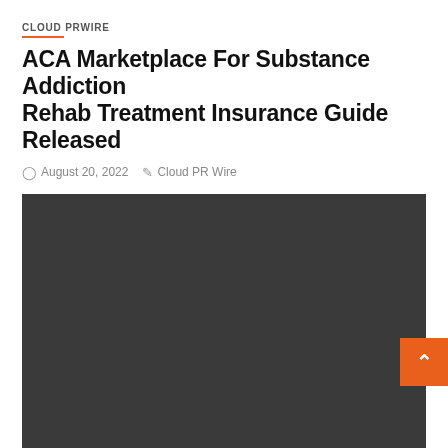CLOUD PRWIRE
ACA Marketplace For Substance Addiction Rehab Treatment Insurance Guide Released
August 20, 2022   Cloud PR Wire
[Figure (photo): Dark/placeholder image area for the article]
CLOUD PRWIRE
Gilbert, AZ Workers' Compensation Insurance Rate Calculation Guide Launched